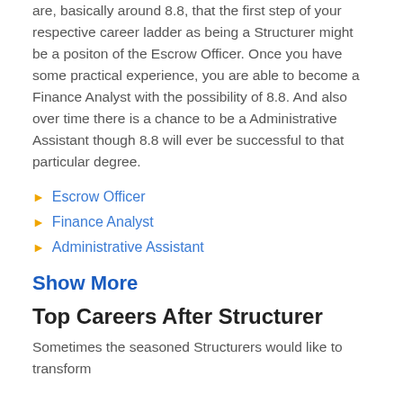are, basically around 8.8, that the first step of your respective career ladder as being a Structurer might be a positon of the Escrow Officer. Once you have some practical experience, you are able to become a Finance Analyst with the possibility of 8.8. And also over time there is a chance to be a Administrative Assistant though 8.8 will ever be successful to that particular degree.
Escrow Officer
Finance Analyst
Administrative Assistant
Show More
Top Careers After Structurer
Sometimes the seasoned Structurers would like to transform